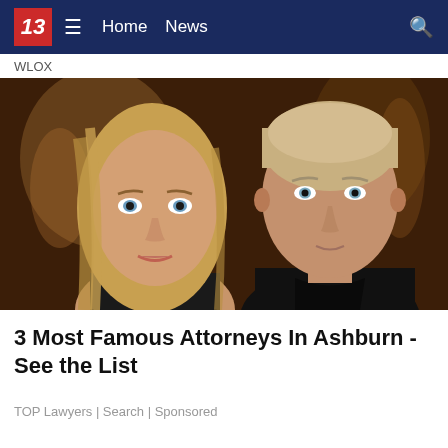13  ≡  Home  News
WLOX
[Figure (photo): Two people posing close together in a warmly lit interior. On the left is a woman with long blonde hair and blue eyes. On the right is a man with short light brown hair and blue eyes wearing a dark top.]
3 Most Famous Attorneys In Ashburn - See the List
TOP Lawyers | Search | Sponsored